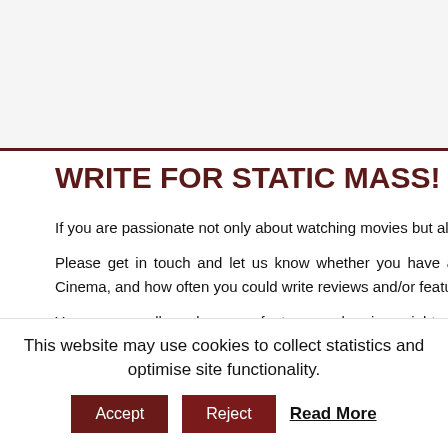[Figure (other): Top banner/header area with light gray background]
WRITE FOR STATIC MASS!
If you are passionate not only about watching movies but also about writing, we would love to hear from you!
Please get in touch and let us know whether you have a favorite genre, an interest for example in World Cinema, and how often you could write reviews and/or features for us.
You can as well send us your features and reviews right away. We look forward to receiving articles between 700 and 1,500 words, submitted as a Word document.
You can find more information here.
— Fou
— Edito
— C Arpad
This website may use cookies to collect statistics and optimise site functionality.